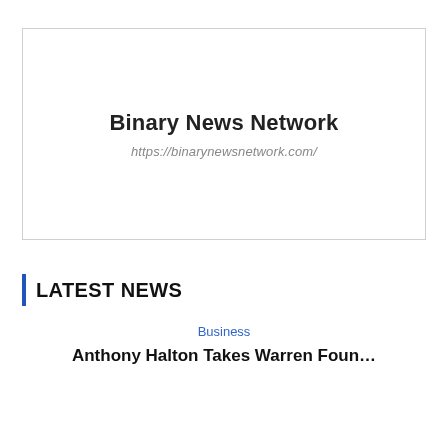[Figure (logo): Binary News Network logo box with site name and URL]
LATEST NEWS
Business
Anthony Halton Takes Warren Foun...